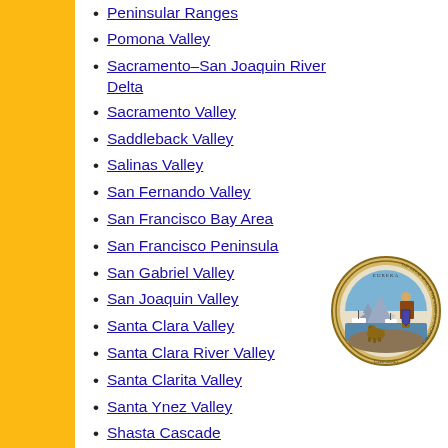Peninsular Ranges
Pomona Valley
Sacramento–San Joaquin River Delta
Sacramento Valley
Saddleback Valley
Salinas Valley
San Fernando Valley
San Francisco Bay Area
San Francisco Peninsula
San Gabriel Valley
San Joaquin Valley
Santa Clara Valley
Santa Clara River Valley
Santa Clarita Valley
Santa Ynez Valley
Shasta Cascade
Sierra Nevada
Silicon Valley
South Bay (LA)
South Bay (SD)
South Bay (SF)
South Coast
Southern Border Region
Southern California
[Figure (illustration): Great Seal of the State of California — circular seal with gold/tan border, featuring Minerva, grizzly bear, ships, mountains, and text 'EUREKA', 'THE GREAT SEAL OF THE STATE OF CALIFORNIA']